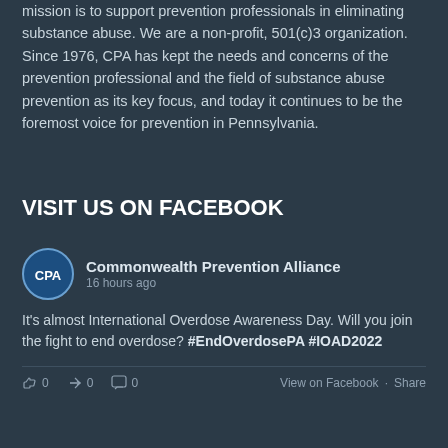mission is to support prevention professionals in eliminating substance abuse. We are a non-profit, 501(c)3 organization. Since 1976, CPA has kept the needs and concerns of the prevention professional and the field of substance abuse prevention as its key focus, and today it continues to be the foremost voice for prevention in Pennsylvania.
VISIT US ON FACEBOOK
[Figure (logo): CPA (Commonwealth Prevention Alliance) circular logo with blue background and white CPA letters]
Commonwealth Prevention Alliance
16 hours ago
It's almost International Overdose Awareness Day. Will you join the fight to end overdose? #EndOverdosePA #IOAD2022
👍 0   ↪ 0   💬 0   View on Facebook · Share